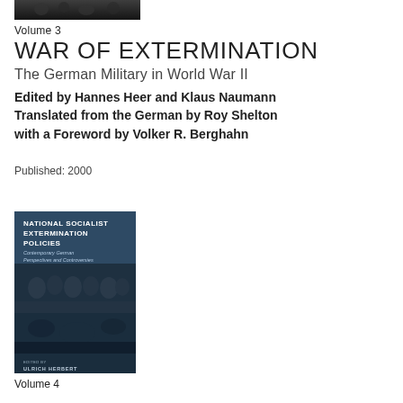[Figure (photo): Top portion of a book cover showing a dark/black and white historical photograph]
Volume 3
WAR OF EXTERMINATION
The German Military in World War II
Edited by Hannes Heer and Klaus Naumann
Translated from the German by Roy Shelton
with a Foreword by Volker R. Berghahn
Published: 2000
[Figure (photo): Book cover of 'National Socialist Extermination Policies: Contemporary German Perspectives and Controversies' showing historical photographs with a dark blue tone, edited by Ulrich Herbert]
Volume 4